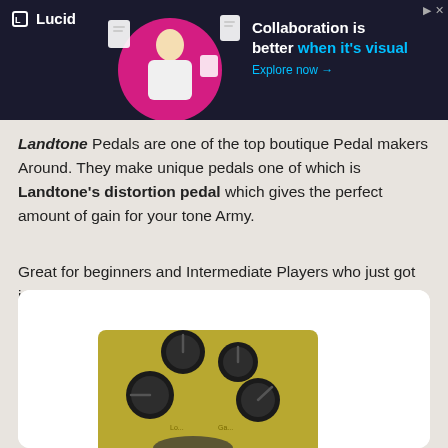[Figure (screenshot): Lucid advertisement banner with dark background, illustration of a woman, and text 'Collaboration is better when it's visual. Explore now →']
Landtone Pedals are one of the top boutique Pedal makers Around. They make unique pedals one of which is Landtone's distortion pedal which gives the perfect amount of gain for your tone Army.
Great for beginners and Intermediate Players who just got into Hard rock and heavy metal music!
[Figure (photo): Close-up photo of a Landtone distortion guitar pedal with gold/olive colored body and multiple black knobs, on white background inside a rounded card.]